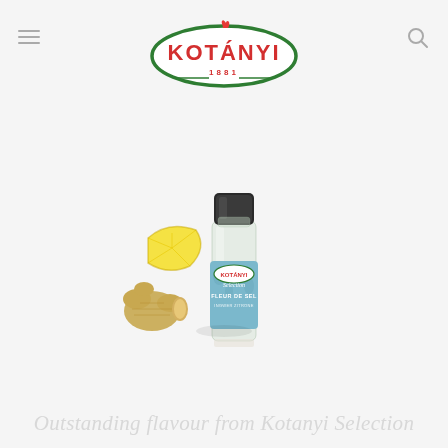[Figure (logo): Kotanyi brand logo — oval shape with green border, red KOTANYI text, flame icon above the A, and 1881 below in red, on white background]
[Figure (photo): Kotanyi Selection Fleur de Sel product — a glass spice jar with a black cap, blue decorative seahorse label reading KOTANYI Selection FLEUR DE SEL, with a slice of lemon and ginger root beside the bottle, on a light grey background]
Outstanding flavour from Kotanyi Selection